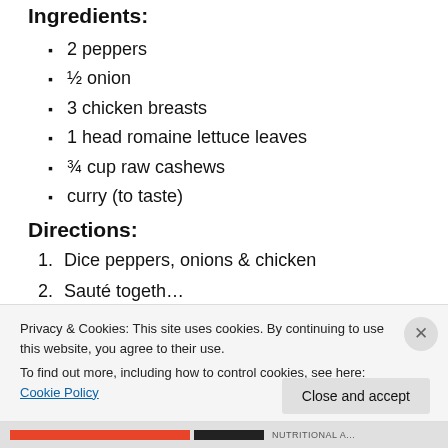Ingredients:
2 peppers
½ onion
3 chicken breasts
1 head romaine lettuce leaves
¾ cup raw cashews
curry (to taste)
Directions:
1. Dice peppers, onions & chicken
2. Sauté together...
Privacy & Cookies: This site uses cookies. By continuing to use this website, you agree to their use.
To find out more, including how to control cookies, see here: Cookie Policy